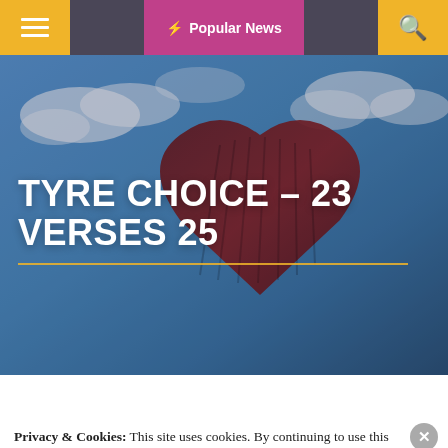≡  ⚡ Popular News  🔍
[Figure (photo): Hero background image showing a large red sculptural heart or guitar shape against a blue cloudy sky]
TYRE CHOICE – 23 VERSES 25
Tricia L. Snell
Privacy & Cookies: This site uses cookies. By continuing to use this website, you agree to their use.
To find out more, including how to control cookies, see here:
Cookie Policy
Close and accept